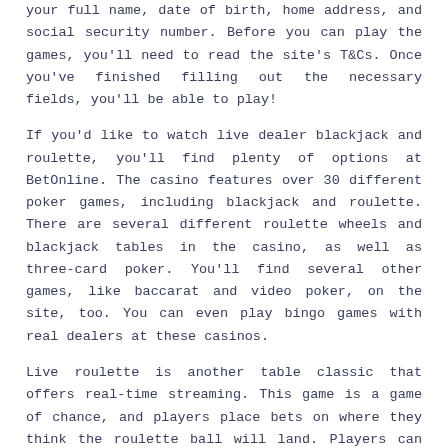remember, as well as fill out the required information. You'll need your full name, date of birth, home address, and social security number. Before you can play the games, you'll need to read the site's T&Cs. Once you've finished filling out the necessary fields, you'll be able to play!
If you'd like to watch live dealer blackjack and roulette, you'll find plenty of options at BetOnline. The casino features over 30 different poker games, including blackjack and roulette. There are several different roulette wheels and blackjack tables in the casino, as well as three-card poker. You'll find several other games, like baccarat and video poker, on the site, too. You can even play bingo games with real dealers at these casinos.
Live roulette is another table classic that offers real-time streaming. This game is a game of chance, and players place bets on where they think the roulette ball will land. Players can wager on a specific number, red or black, or a combination of these. Live roulette is a thrilling game, and the live versions of the game include speed and American roulette. You can also find live versions of blackjack in top live casinos. All you need to play is a high-speed internet connection.